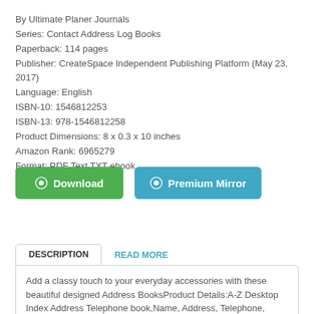By Ultimate Planer Journals
Series: Contact Address Log Books
Paperback: 114 pages
Publisher: CreateSpace Independent Publishing Platform (May 23, 2017)
Language: English
ISBN-10: 1546812253
ISBN-13: 978-1546812258
Product Dimensions: 8 x 0.3 x 10 inches
Amazon Rank: 6965279
Format: PDF Text TXT ebook
[Figure (other): Green Download button and blue Premium Mirror button]
DESCRIPTION
READ MORE
Add a classy touch to your everyday accessories with these beautiful designed Address BooksProduct Details:A-Z Desktop Index Address Telephone book,Name, Address, Telephone,